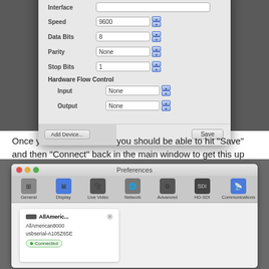[Figure (screenshot): macOS serial connection dialog showing Interface dropdown with 'usbserial-A105Z6SE (/dev/cu.usbserial-A105Z6SE)' selected (highlighted in blue), plus fields for Speed (9600), Data Bits (8), Parity (None), Stop Bits (1), Hardware Flow Control with Input (None) and Output (None), a Reconnect checkbox, and a Save button. An 'Add Device...' button is visible at the bottom left.]
Once you have done this, you should be able to hit "Save" and then "Connect" back in the main window to get this up and running.
[Figure (screenshot): macOS Preferences window with toolbar icons for General, Display, Live Video, Network, Advanced, HD-SDI, and Communications (currently selected/highlighted in blue). The body shows a device card for 'AllAmeric...' displaying AllAmerican8000, usbserial-A105Z6SE, and a green 'Connected' badge.]